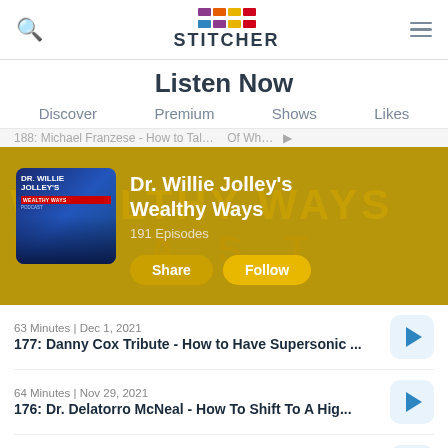Stitcher
Listen Now
Discover  Premium  Shows  Likes
[Figure (screenshot): Dr. Willie Jolley's Wealthy Ways podcast banner with golden background, podcast thumbnail, title, episode count, Share and Follow buttons]
63 Minutes | Dec 1, 2021
177: Danny Cox Tribute - How to Have Supersonic ...
64 Minutes | Nov 29, 2021
176: Dr. Delatorro McNeal - How To Shift To A Hig...
64 Minutes | Nov 29, 2021
175: Dr. Shirley Davis - What if you could...?